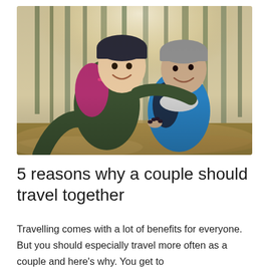[Figure (photo): A couple taking a selfie in a forest. The man on the left wears a dark green winter jacket and a dark beanie hat, carrying a backpack with a pink/magenta pack. He has his arm around the woman on the right, who wears a bright blue jacket, a grey beanie hat, and a backpack. Both are smiling. The background shows bare deciduous trees with light filtering through, suggesting a winter or early spring forest setting.]
5 reasons why a couple should travel together
Travelling comes with a lot of benefits for everyone. But you should especially travel more often as a couple and here's why. You get to